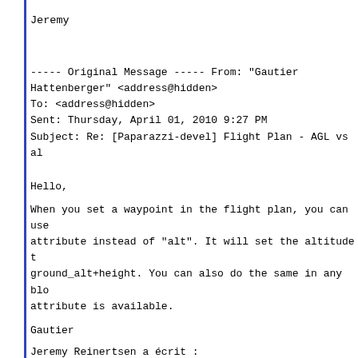Jeremy
----- Original Message ----- From: "Gautier Hattenberger" <address@hidden>
To: <address@hidden>
Sent: Thursday, April 01, 2010 9:27 PM
Subject: Re: [Paparazzi-devel] Flight Plan - AGL vs al
Hello,
When you set a waypoint in the flight plan, you can use attribute instead of "alt". It will set the altitude to ground_alt+height. You can also do the same in any blo attribute is available.
Gautier
Jeremy Reinertsen a écrit :
Hi Folks,
I am familliar with assigning waypoint altitude via alt="ground_alt+100"
Is it possible to assign waypoint altitude to actual using SRTM data? i.e. I want the UAV to circle at an